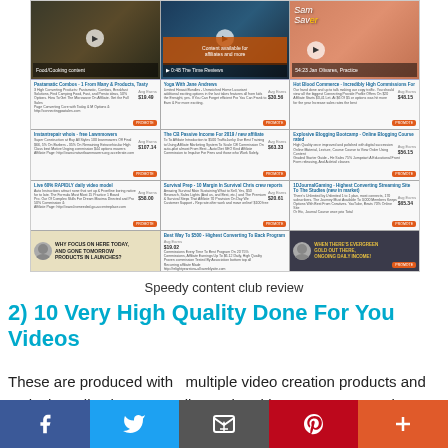[Figure (screenshot): Screenshot of a content club/affiliate marketing dashboard showing video thumbnails, product listings with prices and promote buttons, and promotional banners]
Speedy content club review
2) 10 Very High Quality Done For You Videos
These are produced with  multiple video creation products and tools that Clive has at my disposal and incorporates Creative Commons, Royalty Free imagery and purchased ‘full license’
[Figure (infographic): Social sharing bar with Facebook, Twitter, Email, Pinterest, and More buttons]